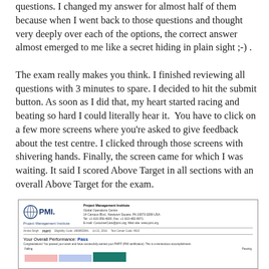questions. I changed my answer for almost half of them because when I went back to those questions and thought very deeply over each of the options, the correct answer almost emerged to me like a secret hiding in plain sight ;-) .
The exam really makes you think. I finished reviewing all questions with 3 minutes to spare. I decided to hit the submit button. As soon as I did that, my heart started racing and beating so hard I could literally hear it.  You have to click on a few more screens where you're asked to give feedback about the test centre. I clicked through those screens with shivering hands. Finally, the screen came for which I was waiting. It said I scored Above Target in all sections with an overall Above Target for the exam.
[Figure (other): PMI (Project Management Institute) exam result certificate card showing 'Your Overall Performance: Pass' with performance bars indicating scoring levels.]